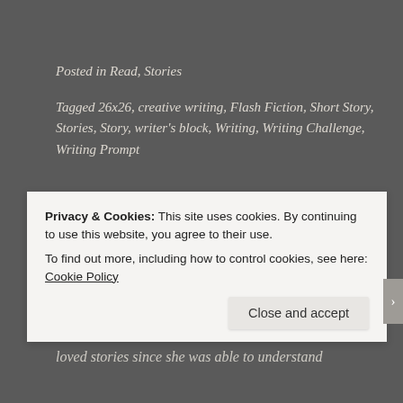Posted in Read, Stories
Tagged 26x26, creative writing, Flash Fiction, Short Story, Stories, Story, writer's block, Writing, Writing Challenge, Writing Prompt
Published by Bulbul
[Figure (logo): Bulbuls Bubble logo: dark red circle with stylized double-B letters and text 'Bulbuls Bubble' at bottom]
A young writer from India who has loved stories since she was able to understand
Privacy & Cookies: This site uses cookies. By continuing to use this website, you agree to their use.
To find out more, including how to control cookies, see here: Cookie Policy